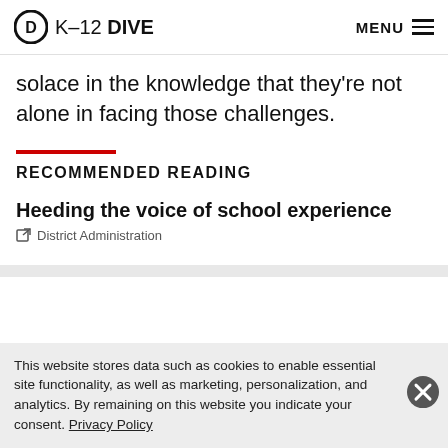K-12 DIVE  MENU
solace in the knowledge that they're not alone in facing those challenges.
RECOMMENDED READING
Heeding the voice of school experience
District Administration
This website stores data such as cookies to enable essential site functionality, as well as marketing, personalization, and analytics. By remaining on this website you indicate your consent. Privacy Policy